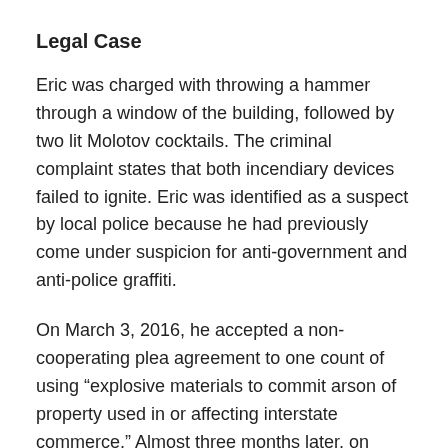Legal Case
Eric was charged with throwing a hammer through a window of the building, followed by two lit Molotov cocktails. The criminal complaint states that both incendiary devices failed to ignite. Eric was identified as a suspect by local police because he had previously come under suspicion for anti-government and anti-police graffiti.
On March 3, 2016, he accepted a non-cooperating plea agreement to one count of using “explosive materials to commit arson of property used in or affecting interstate commerce.” Almost three months later, on June 28th, Eric was sentenced to ten years, the statutory minimum and maximum for the charge he pleaded guilty to.
From his sentencing statement: